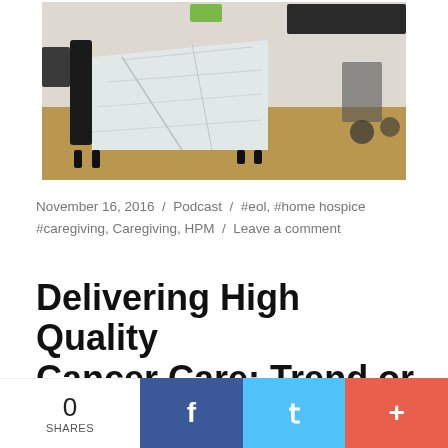[Figure (photo): A hospital or hospice bed with white sheets in a room with dark furniture and wooden floor]
November 16, 2016 / Podcast / #eol, #home hospice #caregiving, Caregiving, HPM / Leave a comment
Delivering High Quality Cancer Care: Trend or Wishful Thinking?